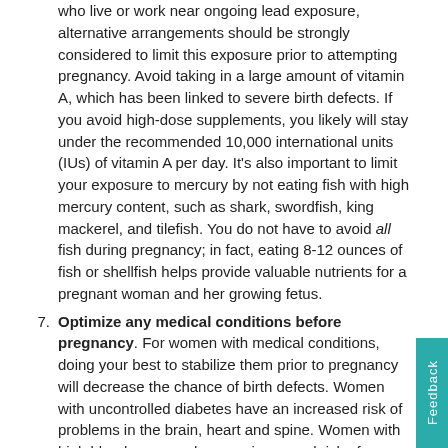who live or work near ongoing lead exposure, alternative arrangements should be strongly considered to limit this exposure prior to attempting pregnancy. Avoid taking in a large amount of vitamin A, which has been linked to severe birth defects. If you avoid high-dose supplements, you likely will stay under the recommended 10,000 international units (IUs) of vitamin A per day. It's also important to limit your exposure to mercury by not eating fish with high mercury content, such as shark, swordfish, king mackerel, and tilefish. You do not have to avoid all fish during pregnancy; in fact, eating 8-12 ounces of fish or shellfish helps provide valuable nutrients for a pregnant woman and her growing fetus.
7. Optimize any medical conditions before pregnancy. For women with medical conditions, doing your best to stabilize them prior to pregnancy will decrease the chance of birth defects. Women with uncontrolled diabetes have an increased risk of problems in the brain, heart and spine. Women with high blood pressure have an increased risk of poor placental blood flow, which can cause inappropriate development and growth in some of the fetal organs. If you have a medical condition, see your